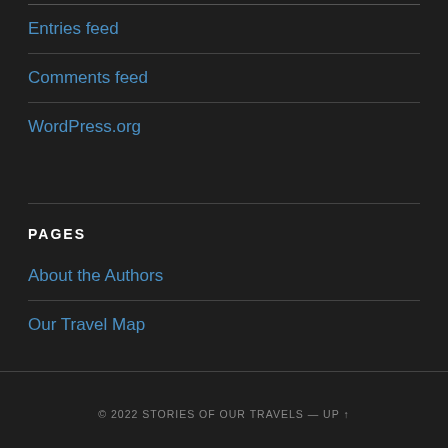Entries feed
Comments feed
WordPress.org
PAGES
About the Authors
Our Travel Map
© 2022 STORIES OF OUR TRAVELS — UP ↑